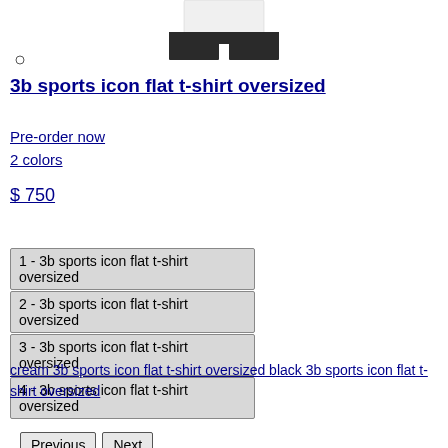[Figure (photo): Product photo showing a model wearing a white t-shirt with black wide-leg pants, cropped at the waist]
3b sports icon flat t-shirt oversized
Pre-order now
2 colors
$ 750
[Figure (screenshot): Navigation buttons (Previous, Next) and a list of 4 image thumbnails labeled 1-4 for 3b sports icon flat t-shirt oversized]
cream 3b sports icon flat t-shirt oversized black 3b sports icon flat t-shirt oversized